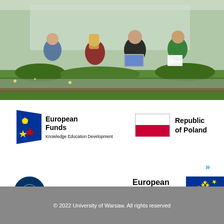[Figure (photo): Students sitting on grass outdoors using laptops and notebooks, group study scene]
[Figure (logo): European Funds - Knowledge Education Development logo with blue/red/yellow star flag icon]
[Figure (logo): Republic of Poland logo with Polish flag (white and red horizontal stripes)]
[Figure (logo): ZIP University's Integrated Development Programme circular logo]
[Figure (logo): European Union European Social Fund logo with EU blue flag and yellow stars]
© 2022 University of Warsaw. All rights reserved